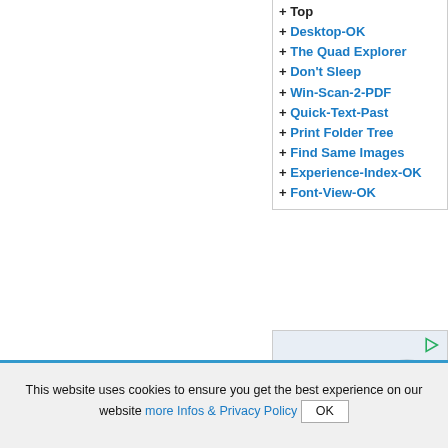+ Top
+ Desktop-OK
+ The Quad Explorer
+ Don't Sleep
+ Win-Scan-2-PDF
+ Quick-Text-Past
+ Print Folder Tree
+ Find Same Images
+ Experience-Index-OK
+ Font-View-OK
[Figure (infographic): Advertisement for Leapyear: Stop locking up value! Be a leader in data monetization. Features a padlock made of people. LEAPYEAR - GET THE HANDBOOK]
This website uses cookies to ensure you get the best experience on our website more Infos & Privacy Policy OK